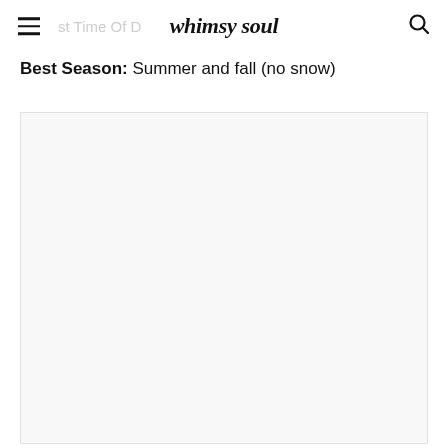whimsy soul
Best Season: Summer and fall (no snow)
[Figure (photo): Large light gray placeholder image area, approximately square, with very faint off-white background.]